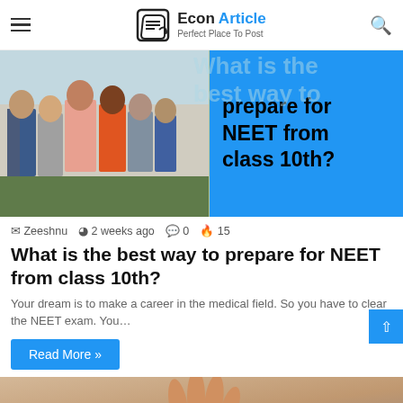Econ Article — Perfect Place To Post
[Figure (photo): Article thumbnail: group of smiling students on the left half, blue background with bold text 'prepare for NEET from class 10th?' on the right half. Faded text 'What is the best way to...' visible in background.]
Zeeshnu  2 weeks ago  0  15
What is the best way to prepare for NEET from class 10th?
Your dream is to make a career in the medical field. So you have to clear the NEET exam. You…
Read More »
[Figure (photo): Bottom partial image preview showing a hand palm-up against a soft background.]